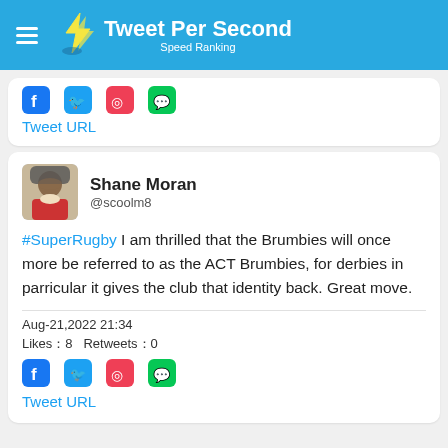Tweet Per Second — Speed Ranking
Tweet URL
Shane Moran @scoolm8
#SuperRugby I am thrilled that the Brumbies will once more be referred to as the ACT Brumbies, for derbies in parricular it gives the club that identity back. Great move.
Aug-21,2022 21:34
Likes：8   Retweets：0
Tweet URL